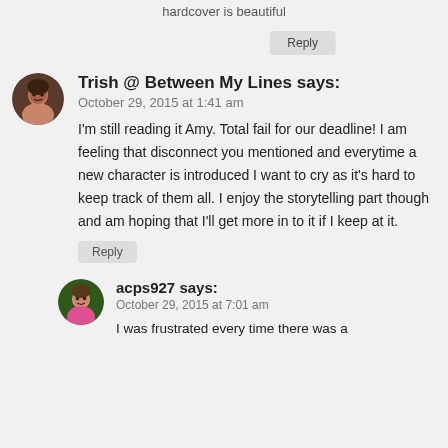hardcover is beautiful
Reply
Trish @ Between My Lines says:
October 29, 2015 at 1:41 am
I'm still reading it Amy. Total fail for our deadline! I am feeling that disconnect you mentioned and everytime a new character is introduced I want to cry as it's hard to keep track of them all. I enjoy the storytelling part though and am hoping that I'll get more in to it if I keep at it.
Reply
acps927 says:
October 29, 2015 at 7:01 am
I was frustrated every time there was a